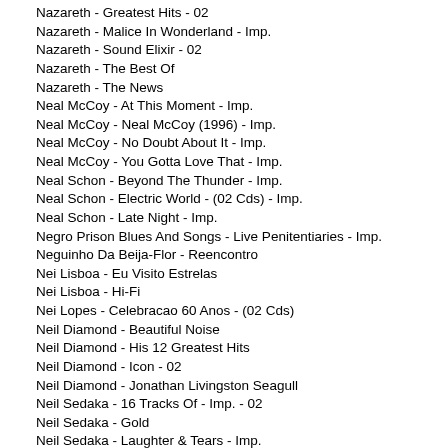Nazareth - Greatest Hits - 02
Nazareth - Malice In Wonderland - Imp.
Nazareth - Sound Elixir - 02
Nazareth - The Best Of
Nazareth - The News
Neal McCoy - At This Moment - Imp.
Neal McCoy - Neal McCoy (1996) - Imp.
Neal McCoy - No Doubt About It - Imp.
Neal McCoy - You Gotta Love That - Imp.
Neal Schon - Beyond The Thunder - Imp.
Neal Schon - Electric World - (02 Cds) - Imp.
Neal Schon - Late Night - Imp.
Negro Prison Blues And Songs - Live Penitentiaries - Imp.
Neguinho Da Beija-Flor - Reencontro
Nei Lisboa - Eu Visito Estrelas
Nei Lisboa - Hi-Fi
Nei Lopes - Celebracao 60 Anos - (02 Cds)
Neil Diamond - Beautiful Noise
Neil Diamond - His 12 Greatest Hits
Neil Diamond - Icon - 02
Neil Diamond - Jonathan Livingston Seagull
Neil Sedaka - 16 Tracks Of - Imp. - 02
Neil Sedaka - Gold
Neil Sedaka - Laughter & Tears - Imp.
Neil Sedaka - On More Mountain